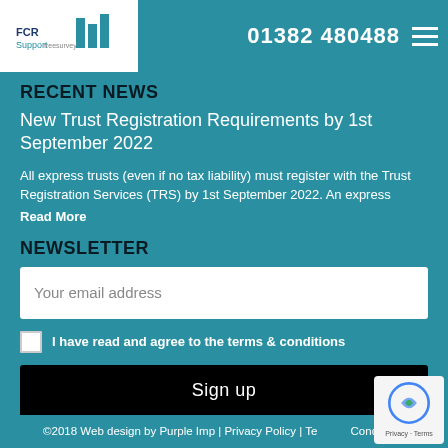01382 480488
[Figure (logo): FCR Support business logo with bar chart icon]
RECENT NEWS
New Trust Registration Requirements by 1st September 2022
All express trusts (even if no tax liability) must register with the Trust Registration Services (TRS) by 1st September 2022. An express
Read More
NEWSLETTER
Your email address
I have read and agree to the terms & conditions
Sign up
©2018 Web design by Purple Imp | Privacy Policy | Terms & Conditions